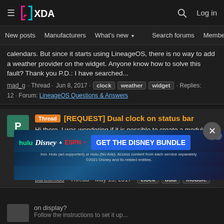XDA — New posts | Manufacturers | What's new | Search forums | Members
calendars. But since it starts using LineageOS, there is no way to add a weather provider on the widget. Anyone know how to solve this fault? Thank you P.D.: I have searched...
mad_g · Thread · Jun 8, 2017 · clock · weather · widget · Replies: 12 · Forum: LineageOS Questions & Answers
[REQUEST] Dual clock on status bar
Hi there. I was wondering if it is possible to create a module that adds a second clock to the status bar. I live abroad, and I used to use xposed for that (there's a module called XDualStatusClock which worked great) so I could have my home country and tmy residence country's time on the...
pancomido · Thread · May 15, 2017 · clock · dual · module · Replies: 9 · Forum: Magisk
[Figure (infographic): Disney Bundle advertisement banner: Hulu, Disney+, ESPN+ logos with 'GET THE DISNEY BUNDLE' CTA button. Small print: Incl. Hulu (ad-supported) or Hulu (No Ads). Access content from each service separately. ©2021 Disney and its related entities.]